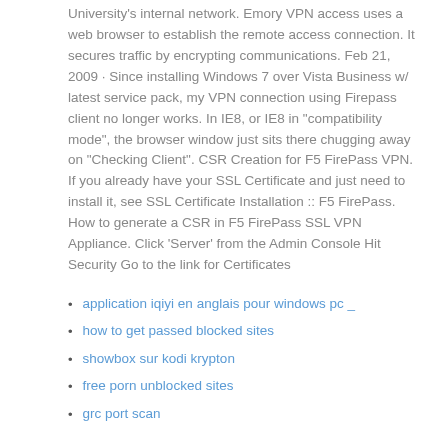University's internal network. Emory VPN access uses a web browser to establish the remote access connection. It secures traffic by encrypting communications. Feb 21, 2009 · Since installing Windows 7 over Vista Business w/ latest service pack, my VPN connection using Firepass client no longer works. In IE8, or IE8 in "compatibility mode", the browser window just sits there chugging away on "Checking Client". CSR Creation for F5 FirePass VPN. If you already have your SSL Certificate and just need to install it, see SSL Certificate Installation :: F5 FirePass. How to generate a CSR in F5 FirePass SSL VPN Appliance. Click 'Server' from the Admin Console Hit Security Go to the link for Certificates
application iqiyi en anglais pour windows pc _
how to get passed blocked sites
showbox sur kodi krypton
free porn unblocked sites
grc port scan